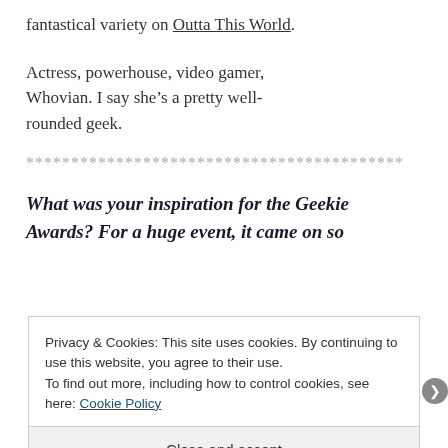fantastical variety on Outta This World.
Actress, powerhouse, video gamer, Whovian. I say she’s a pretty well-rounded geek.
******************************************
What was your inspiration for the Geekie Awards? For a huge event, it came on so
Privacy & Cookies: This site uses cookies. By continuing to use this website, you agree to their use.
To find out more, including how to control cookies, see here: Cookie Policy
Close and accept